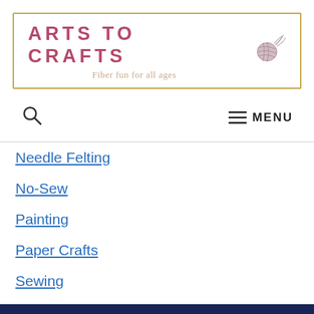ARTS TO CRAFTS — Fiber fun for all ages
[Figure (logo): Arts To Crafts logo with yarn ball and needle illustration, tagline: Fiber fun for all ages]
Needle Felting
No-Sew
Painting
Paper Crafts
Sewing
Stenciling